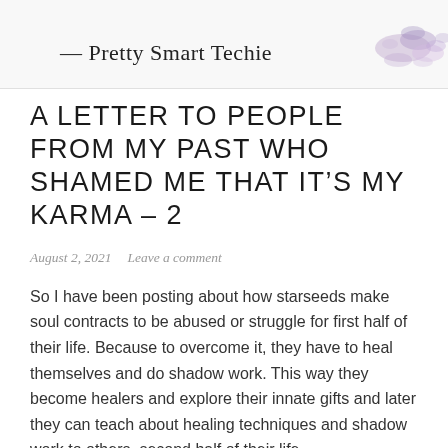— Pretty Smart Techie
A LETTER TO PEOPLE FROM MY PAST WHO SHAMED ME THAT IT'S MY KARMA – 2
August 2, 2021   Leave a comment
So I have been posting about how starseeds make soul contracts to be abused or struggle for first half of their life. Because to overcome it, they have to heal themselves and do shadow work. This way they become healers and explore their innate gifts and later they can teach about healing techniques and shadow work to others, second half of their life.